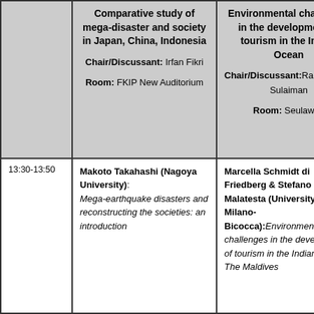|  | Comparative study of mega-disaster and society in Japan, China, Indonesia | Environmental challenges in the development of tourism in the Indian Ocean |
| --- | --- | --- |
|  | Chair/Discussant: Irfan Fikri
Room: FKIP New Auditorium | Chair/Discussant: Rahmadhani Sulaiman
Room: Sealawah |
| 13:30-13:50 | Makoto Takahashi (Nagoya University): Mega-earthquake disasters and reconstructing the societies: an introduction | Marcella Schmidt di Friedberg & Stefano Malatesta (University of Milano-Bicocca): Environmental challenges in the development of tourism in the Indian Ocean: The Maldives |